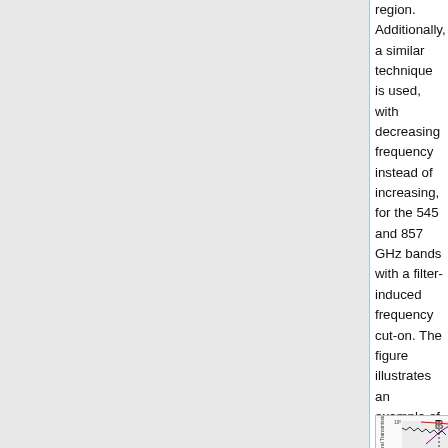region. Additionally, a similar technique is used, with decreasing frequency instead of increasing, for the 545 and 857 GHz bands with a filter-induced frequency cut-on. The figure illustrates an example of both the FTS and filter spectra used in extending the transmission profiles beyond the HFI optical bands.
[Figure (continuous-plot): Log-scale spectral transmission plot showing FTS (black noisy line) and filter spectra (red, purple lines) along with grey filled oscillating background, vertical dashed black line, and y-axis labeled 'Spectral Transmission' ranging from 10^-7 to 10^0. Label 'B' visible in upper right.]